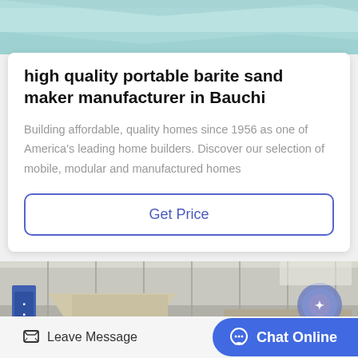[Figure (photo): Top partial photo showing light teal/cyan colored material or fabric, partially visible at top of page]
high quality portable barite sand maker manufacturer in Bauchi
Building affordable, quality homes since 1956 as one of America's leading home builders. Discover our selection of mobile, modular and manufactured homes
[Figure (other): Get Price button with blue border and blue text on white background]
[Figure (photo): Industrial machinery inside a large warehouse/factory, showing heavy manufacturing equipment in beige/tan colors against metal wall panels]
[Figure (other): Bottom navigation bar with Leave Message icon button and Chat Online blue pill button]